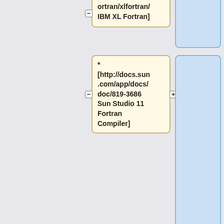ortran/xlfortran/ IBM XL Fortran]
* [http://docs.sun.com/app/docs/doc/819-3686 Sun Studio 11 Fortran Compiler]
* [http://www.liv.ac.uk/HPC/HTMLF90Course/HTMLF90CourseSlides.html Modular Programming w/ Fortran 90 (U. Liverpool)]
* [http://www.liv.ac.uk/HPC/F90pa